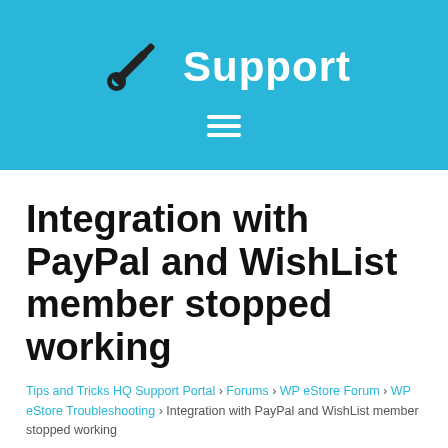Support
Integration with PayPal and WishList member stopped working
Tips and Tricks HQ Support Portal › Forums › WP eStore Forum › WP eStore Troubleshooting › Integration with PayPal and WishList member stopped working
Tagged: paypal integration, Wishlist integration